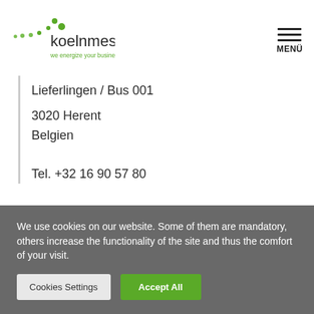[Figure (logo): Koelnmesse logo with green dots and text 'koelnmesse we energize your business | since 1924']
Lieferlingen / Bus 001
3020 Herent
Belgien
Tel. +32 16 90 57 80
+32 (0) 16 394855
Fax +32 (0) 16 90 57 89
+32 (0) 16 394858
We use cookies on our website. Some of them are mandatory, others increase the functionality of the site and thus the comfort of your visit.
Cookies Settings
Accept All